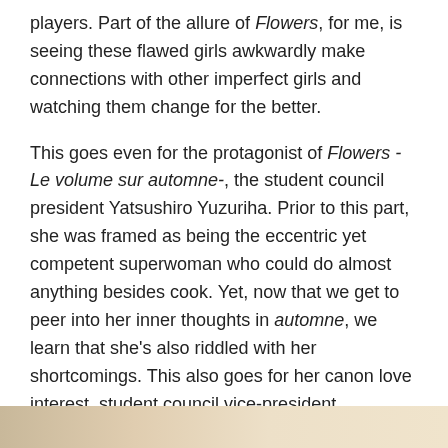players. Part of the allure of Flowers, for me, is seeing these flawed girls awkwardly make connections with other imperfect girls and watching them change for the better.
This goes even for the protagonist of Flowers -Le volume sur automne-, the student council president Yatsushiro Yuzuriha. Prior to this part, she was framed as being the eccentric yet competent superwoman who could do almost anything besides cook. Yet, now that we get to peer into her inner thoughts in automne, we learn that she's also riddled with her shortcomings. This also goes for her canon love interest, student council vice-president Komikado Nerine. So in that sense, the second charm point of the Flowers series is alive and very well in automne.
[Figure (photo): Partial image visible at the bottom of the page, appears to be a scene from the Flowers visual novel game.]